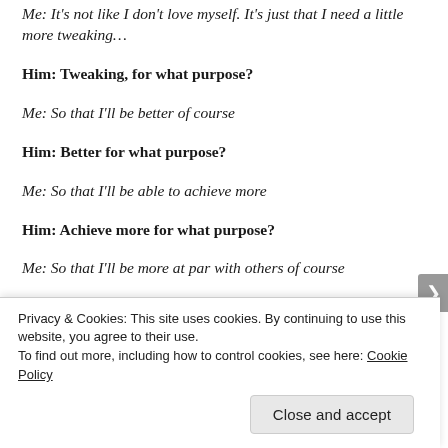Me: It's not like I don't love myself. It's just that I need a little more tweaking…
Him: Tweaking, for what purpose?
Me: So that I'll be better of course
Him: Better for what purpose?
Me: So that I'll be able to achieve more
Him: Achieve more for what purpose?
Me: So that I'll be more at par with others of course
Privacy & Cookies: This site uses cookies. By continuing to use this website, you agree to their use. To find out more, including how to control cookies, see here: Cookie Policy
Close and accept